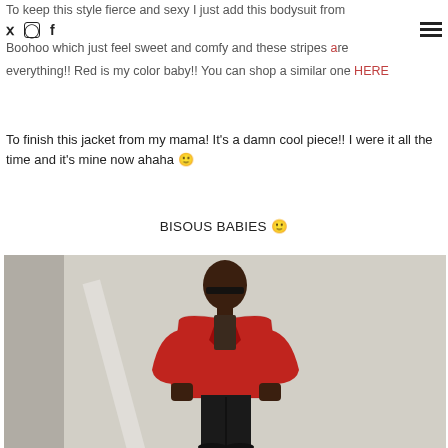To keep this style fierce and sexy I just add this bodysuit from Boohoo which just feel sweet and comfy and these stripes are everything!! Red is my color baby!! You can shop a similar one HERE
To finish this jacket from my mama! It's a damn cool piece!! I were it all the time and it's mine now ahaha 🙂
BISOUS BABIES 🙂
[Figure (photo): A person wearing a red houndstooth oversized blazer with black trousers and sunglasses, standing in front of a textured grey/white wall.]